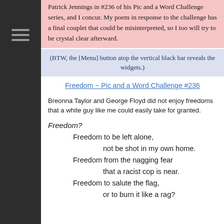Patrick Jennings in #236 of his Pic and a Word Challenge series, and I concur. My poem in response to the challenge has a final couplet that could be misinterpreted, so I too will try to be crystal clear afterward.
(BTW, the [Menu] button atop the vertical black bar reveals the widgets.)
Freedom ~ Pic and a Word Challenge #236
Breonna Taylor and George Floyd did not enjoy freedoms that a white guy like me could easily take for granted.
Freedom?
Freedom to be left alone,
not be shot in my own home.
Freedom from the nagging fear
that a racist cop is near.
Freedom to salute the flag,
or to burn it like a rag?